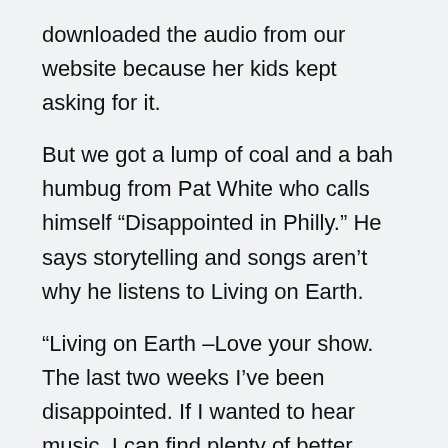downloaded the audio from our website because her kids kept asking for it.
But we got a lump of coal and a bah humbug from Pat White who calls himself “Disappointed in Philly.” He says storytelling and songs aren’t why he listens to Living on Earth.
“Living on Earth –Love your show. The last two weeks I’ve been disappointed. If I wanted to hear music, I can find plenty of better music stations. If I wanted to hear storytelling, I can find plenty of better story stations. If you don’t want to work, then why don’t you just take the week off and give the job to somebody else.”
Sorry to disappoint you, Pat.
Our interview about the trash vortex in the Pacific Ocean where garbage, mostly plastic, accumulates in an area